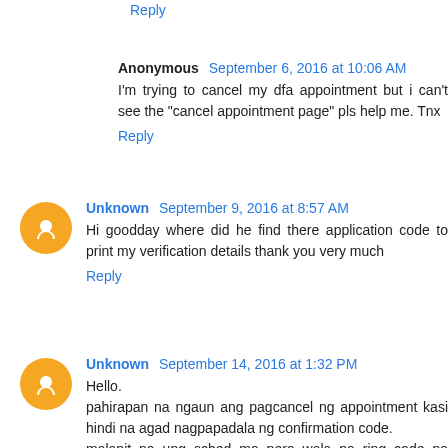Reply
Anonymous  September 6, 2016 at 10:06 AM
I'm trying to cancel my dfa appointment but i can't see the "cancel appointment page" pls help me. Tnx
Reply
Unknown  September 9, 2016 at 8:57 AM
Hi goodday where did he find there application code to print my verification details thank you very much
Reply
Unknown  September 14, 2016 at 1:32 PM
Hello.
pahirapan na ngaun ang pagcancel ng appointment kasi hindi na agad nagpapadala ng confirmation code.
malapit na ung sched mo pero wala pa ring code na pinapadala sa email.